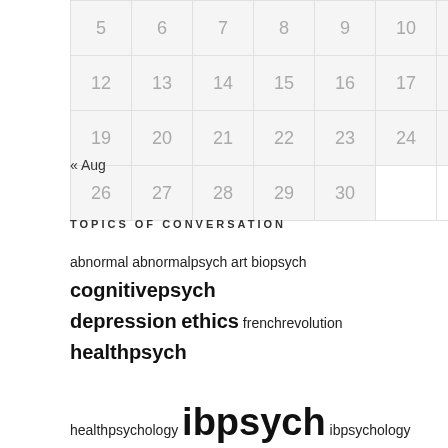| 5 | 6 | 7 | 8 | 9 | 10 | 11 |
| 12 | 13 | 14 | 15 | 16 | 17 | 18 |
| 19 | 20 | 21 | 22 | 23 | 24 | 25 |
| 26 | 27 | 28 | 29 | 30 |  |  |
« Aug
TOPICS OF CONVERSATION
abnormal abnormalpsych art biopsych cognitivepsych depression ethics frenchrevolution healthpsych healthpsychology ibpsych ibpsychology inquiry inquiryhistory inquirylearning isis kant math memory modernworldhistory morality omelas paper3 PBL perception protestmovements reason research researchmethods review socialpsych stress technology thematiceducation